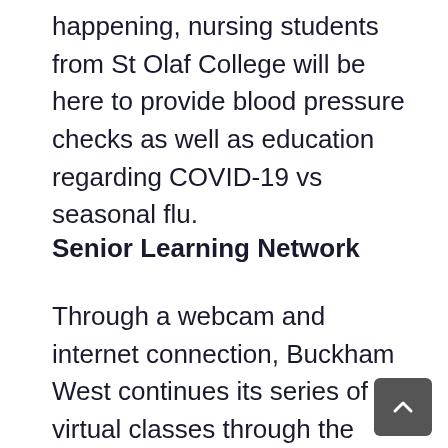happening, nursing students from St Olaf College will be here to provide blood pressure checks as well as education regarding COVID-19 vs seasonal flu.
Senior Learning Network
Through a webcam and internet connection, Buckham West continues its series of virtual classes through the Senior Learning Network (SLN). Pre-registration is required by calling